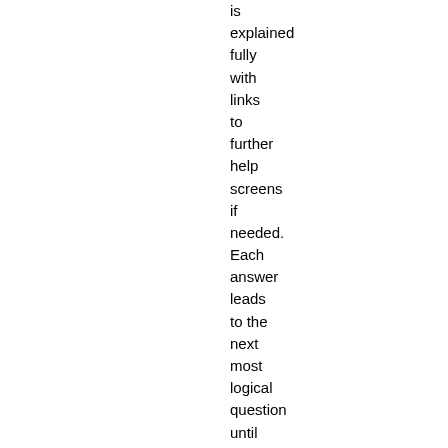is explained fully with links to further help screens if needed. Each answer leads to the next most logical question until the relevant formula is detected. What if there is no